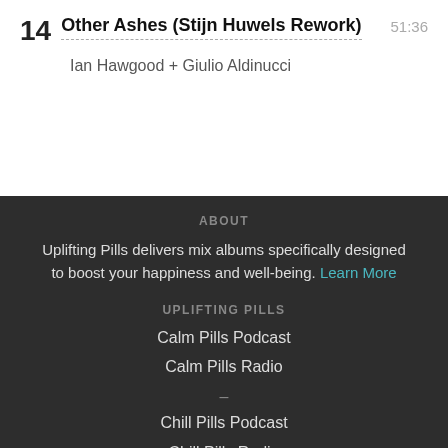14 Other Ashes (Stijn Huwels Rework) 51:36
Ian Hawgood + Giulio Aldinucci
ABOUT
Uplifting Pills delivers mix albums specifically designed to boost your happiness and well-being. Learn More
UPLIFTING PILLS
Calm Pills Podcast
Calm Pills Radio
–
Chill Pills Podcast
Chill Pills Radio